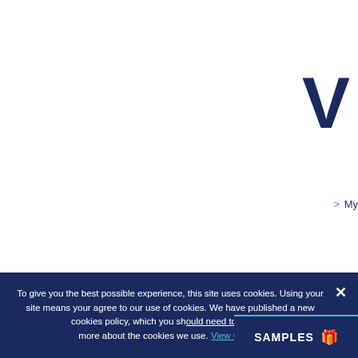[Figure (screenshot): Partial logo visible at top right, dark navy letter(s) cut off by page edge]
> My
R
Unit 3, R
To give you the best possible experience, this site uses cookies. Using your site means your agree to our use of cookies. We have published a new cookies policy, which you should need to find out more about the cookies we use. View Cookie
SAMPLES